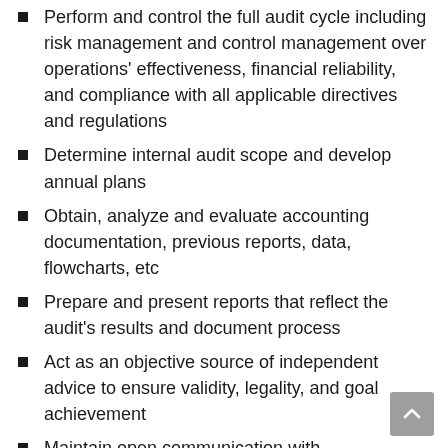Perform and control the full audit cycle including risk management and control management over operations' effectiveness, financial reliability, and compliance with all applicable directives and regulations
Determine internal audit scope and develop annual plans
Obtain, analyze and evaluate accounting documentation, previous reports, data, flowcharts, etc
Prepare and present reports that reflect the audit's results and document process
Act as an objective source of independent advice to ensure validity, legality, and goal achievement
Maintain open communication with management and audit committee
Document process and prepare audit findings ajira memorandum
Conduct follow up audits to monitor management's interventions
Read Also: